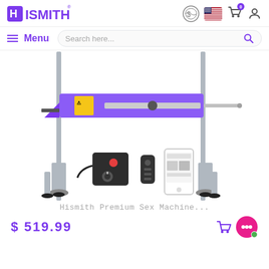HISMITH® — Menu | Search here...
[Figure (photo): A Hismith purple sex machine on a stand with accessories including a control box, remote control, and smartphone app, shown on white background.]
Hismith Premium Sex Machine...
$ 519.99